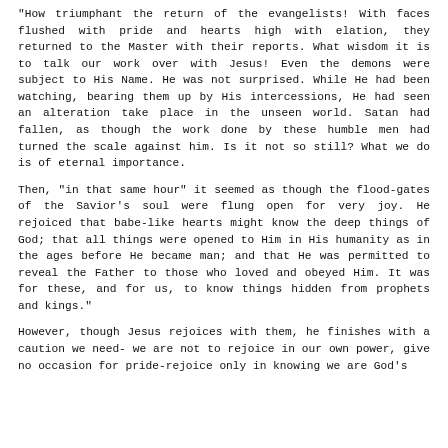"How triumphant the return of the evangelists! With faces flushed with pride and hearts high with elation, they returned to the Master with their reports. What wisdom it is to talk our work over with Jesus! Even the demons were subject to His Name. He was not surprised. While He had been watching, bearing them up by His intercessions, He had seen an alteration take place in the unseen world. Satan had fallen, as though the work done by these humble men had turned the scale against him. Is it not so still? What we do is of eternal importance.
Then, "in that same hour" it seemed as though the flood-gates of the Savior's soul were flung open for very joy. He rejoiced that babe-like hearts might know the deep things of God; that all things were opened to Him in His humanity as in the ages before He became man; and that He was permitted to reveal the Father to those who loved and obeyed Him. It was for these, and for us, to know things hidden from prophets and kings."
However, though Jesus rejoices with them, he finishes with a caution we need- we are not to rejoice in our own power, give no occasion for pride-rejoice only in knowing we are God's